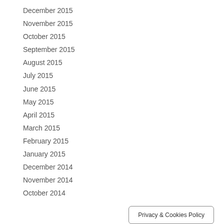December 2015
November 2015
October 2015
September 2015
August 2015
July 2015
June 2015
May 2015
April 2015
March 2015
February 2015
January 2015
December 2014
November 2014
October 2014
Privacy & Cookies Policy